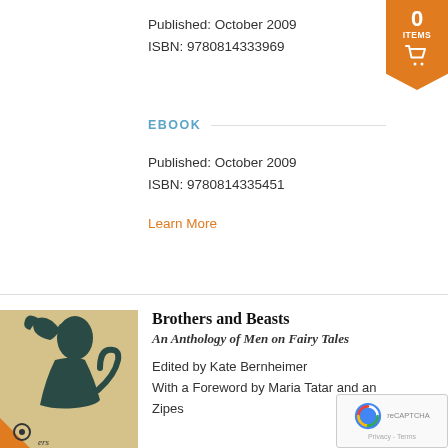Published: October 2009
ISBN: 9780814333969
EBOOK
Published: October 2009
ISBN: 9780814335451
Learn More
[Figure (illustration): Book cover for Brothers and Beasts showing silhouette of a man and beast in dark teal on tan/cream background with publisher logo at bottom left]
Brothers and Beasts
An Anthology of Men on Fairy Tales
Edited by Kate Bernheimer
With a Foreword by Maria Tatar and an Afterword by Jack Zipes